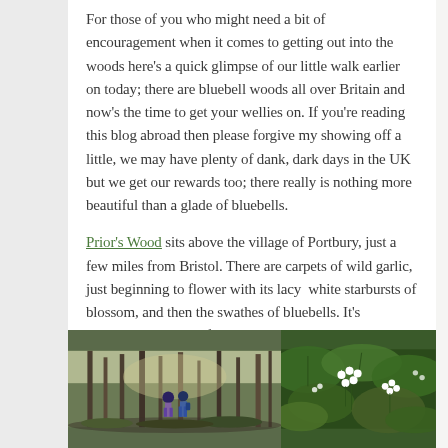For those of you who might need a bit of encouragement when it comes to getting out into the woods here's a quick glimpse of our little walk earlier on today; there are bluebell woods all over Britain and now's the time to get your wellies on. If you're reading this blog abroad then please forgive my showing off a little, we may have plenty of dank, dark days in the UK but we get our rewards too; there really is nothing more beautiful than a glade of bluebells.
Prior's Wood sits above the village of Portbury, just a few miles from Bristol. There are carpets of wild garlic, just beginning to flower with its lacy white starbursts of blossom, and then the swathes of bluebells. It's unimaginably beautiful.
[Figure (photo): Two photos side by side at the bottom: left shows people walking through a woodland with bare trees, right shows close-up of white wild garlic flowers with green leaves]